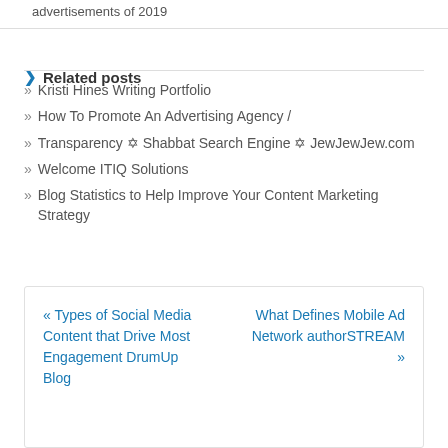advertisements of 2019
Related posts
Kristi Hines Writing Portfolio
How To Promote An Advertising Agency /
Transparency ✡ Shabbat Search Engine ✡ JewJewJew.com
Welcome ITIQ Solutions
Blog Statistics to Help Improve Your Content Marketing Strategy
« Types of Social Media Content that Drive Most Engagement DrumUp Blog     What Defines Mobile Ad Network authorSTREAM »